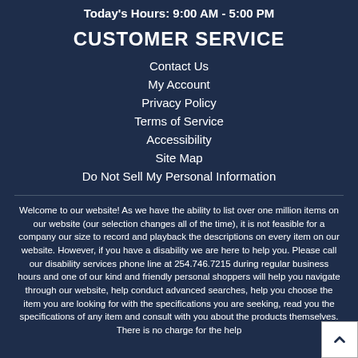Today's Hours: 9:00 AM - 5:00 PM
CUSTOMER SERVICE
Contact Us
My Account
Privacy Policy
Terms of Service
Accessibility
Site Map
Do Not Sell My Personal Information
Welcome to our website! As we have the ability to list over one million items on our website (our selection changes all of the time), it is not feasible for a company our size to record and playback the descriptions on every item on our website. However, if you have a disability we are here to help you. Please call our disability services phone line at 254.746.7215 during regular business hours and one of our kind and friendly personal shoppers will help you navigate through our website, help conduct advanced searches, help you choose the item you are looking for with the specifications you are seeking, read you the specifications of any item and consult with you about the products themselves. There is no charge for the help of this personal shopper for anyone with a disability. Finally,